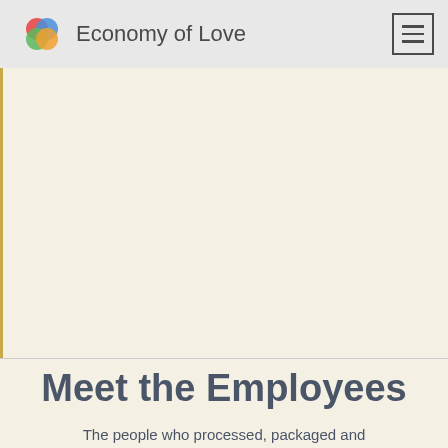Economy of Love
[Figure (logo): Economy of Love logo: four overlapping colored circles forming a flower/clover shape in red, blue, green, and yellow/orange, with text 'Economy of Love' to the right]
Meet the Employees
The people who processed, packaged and